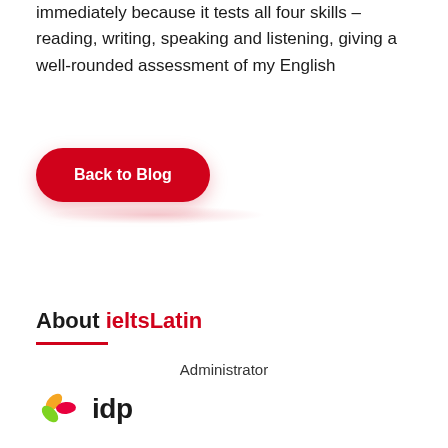immediately because it tests all four skills – reading, writing, speaking and listening, giving a well-rounded assessment of my English
[Figure (other): Red pill-shaped button labeled 'Back to Blog']
About ieltsLatin
Administrator
[Figure (logo): IDP logo with orange and green leaf/flower icon and 'idp' text in dark]